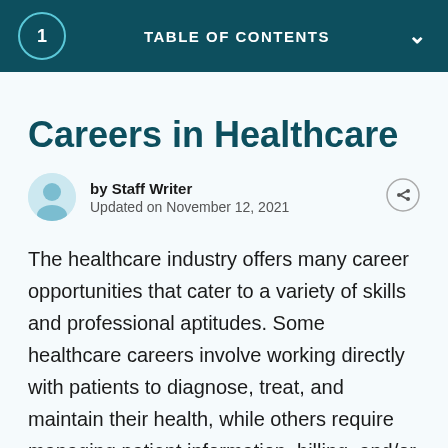1  TABLE OF CONTENTS
Careers in Healthcare
by Staff Writer
Updated on November 12, 2021
The healthcare industry offers many career opportunities that cater to a variety of skills and professional aptitudes. Some healthcare careers involve working directly with patients to diagnose, treat, and maintain their health, while others require managing patient information, billing, and/or administration.